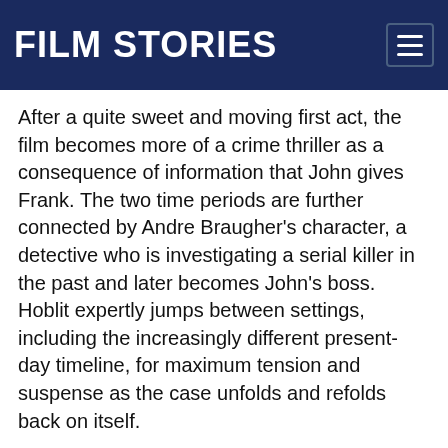FILM STORIES
After a quite sweet and moving first act, the film becomes more of a crime thriller as a consequence of information that John gives Frank. The two time periods are further connected by Andre Braugher’s character, a detective who is investigating a serial killer in the past and later becomes John’s boss. Hoblit expertly jumps between settings, including the increasingly different present-day timeline, for maximum tension and suspense as the case unfolds and refolds back on itself.
This is the only one of Hoblit’s films where the law-and-order aspect is strictly secondary to the genre in which he’s operating, but it really shows off what a versatile director he can be. We don’t evoke Field Of Dreams lightly around these parts, and even though Emmerich’s script sweats the cause of the temporal phenomenon a tad too much, (“There was something